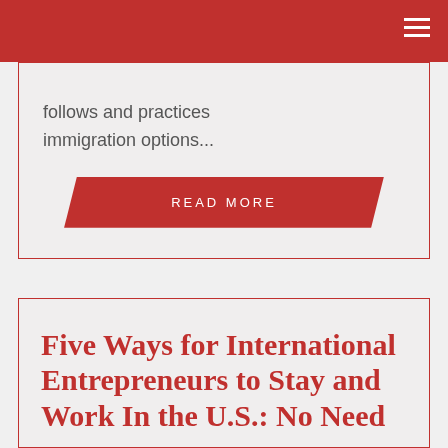follows and practices immigration options...
READ MORE
Five Ways for International Entrepreneurs to Stay and Work In the U.S.: No Need